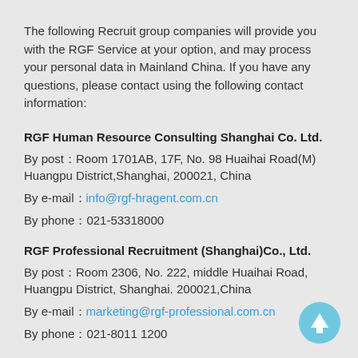The following Recruit group companies will provide you with the RGF Service at your option, and may process your personal data in Mainland China. If you have any questions, please contact using the following contact information:
RGF Human Resource Consulting Shanghai Co. Ltd.
By post：Room 1701AB, 17F, No. 98 Huaihai Road(M) Huangpu District,Shanghai, 200021, China
By e-mail：info@rgf-hragent.com.cn
By phone：021-53318000
RGF Professional Recruitment (Shanghai)Co., Ltd.
By post：Room 2306, No. 222, middle Huaihai Road, Huangpu District, Shanghai. 200021,China
By e-mail：marketing@rgf-professional.com.cn
By phone：021-8011 1200
[Figure (illustration): Light blue circular scroll-to-top button with white upward arrow]